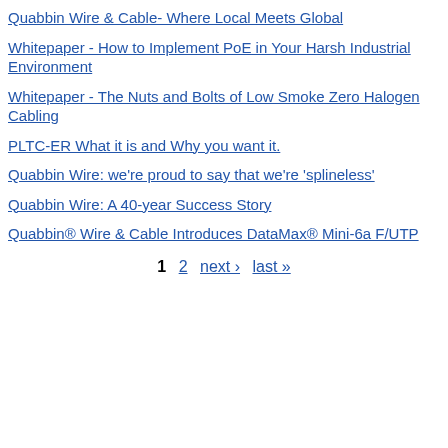Quabbin Wire & Cable- Where Local Meets Global
Whitepaper - How to Implement PoE in Your Harsh Industrial Environment
Whitepaper - The Nuts and Bolts of Low Smoke Zero Halogen Cabling
PLTC-ER What it is and Why you want it.
Quabbin Wire: we're proud to say that we're 'splineless'
Quabbin Wire: A 40-year Success Story
Quabbin® Wire & Cable Introduces DataMax® Mini-6a F/UTP
1  2  next ›  last »